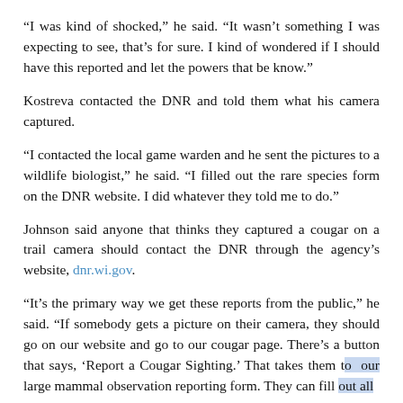“I was kind of shocked,” he said. “It wasn’t something I was expecting to see, that’s for sure. I kind of wondered if I should have this reported and let the powers that be know.”
Kostreva contacted the DNR and told them what his camera captured.
“I contacted the local game warden and he sent the pictures to a wildlife biologist,” he said. “I filled out the rare species form on the DNR website. I did whatever they told me to do.”
Johnson said anyone that thinks they captured a cougar on a trail camera should contact the DNR through the agency’s website, dnr.wi.gov.
“It’s the primary way we get these reports from the public,” he said. “If somebody gets a picture on their camera, they should go on our website and go to our cougar page. There’s a button that says, ‘Report a Cougar Sighting.’ That takes them to our large mammal observation reporting form. They can fill out all